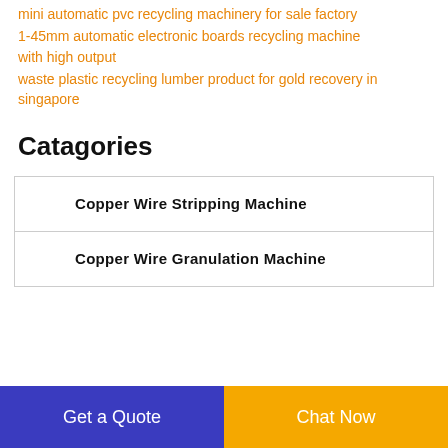mini automatic pvc recycling machinery for sale factory
1-45mm automatic electronic boards recycling machine with high output
waste plastic recycling lumber product for gold recovery in singapore
Catagories
Copper Wire Stripping Machine
Copper Wire Granulation Machine
Get a Quote
Chat Now